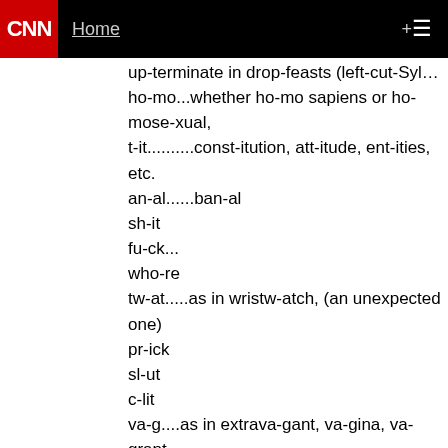CNN | Home +
up-terminate in drop-feasts (left-cut-Sylvester-th... ho-mo...whether ho-mo sapiens or ho-mose-xual, t-it..........const-itution, att-itude, ent-ities, etc. an-al......ban-al sh-it fu-ck... who-re tw-at.....as in wristw-atch, (an unexpected one) pr-ick sl-ut c-lit va-g....as in extrava-gant, va-gina, va-grant hor-ny ar-se....yet "ass" is not filtered! nip-ple po-rn c-ock nig-ger cu-nt b-itch